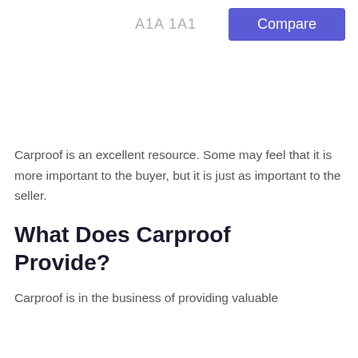A1A 1A1  Compare
Carproof is an excellent resource. Some may feel that it is more important to the buyer, but it is just as important to the seller.
What Does Carproof Provide?
Carproof is in the business of providing valuable